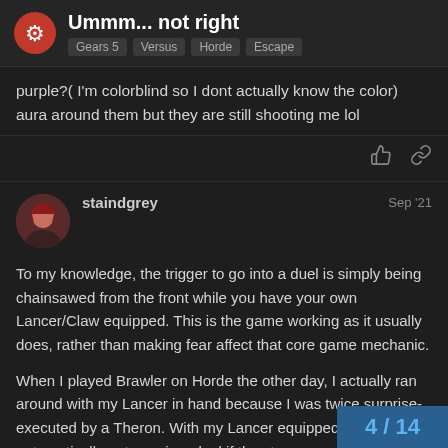Ummm... not right — Gears 5 | Versus | Horde | Escape
purple?( I'm colorblind so I dont actually know the color) aura around them but they are still shooting me lol
staindgrey — Sep '21
To my knowledge, the trigger to go into a duel is simply being chainsawed from the front while you have your own Lancer/Claw equipped. This is the game working as it usually does, rather than making fear affect that core game mechanic.

When I played Brawler on Horde the other day, I actually ran around with my Lancer in hand because I was twice surprise-executed by a Theron. With my Lancer equipped, it automatically puts me in a duel if they try.
4 / 14